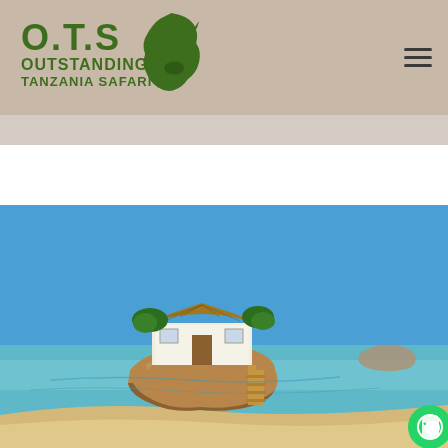[Figure (logo): O.T.S Outstanding Tanzania Safari logo with green rhino and Africa map silhouette on beige/tan header background]
[Figure (photo): A thatched-roof restaurant or building built on a rocky outcrop in the ocean near Zanzibar, Tanzania, with clear turquoise water and sandy beach in the foreground under a blue sky]